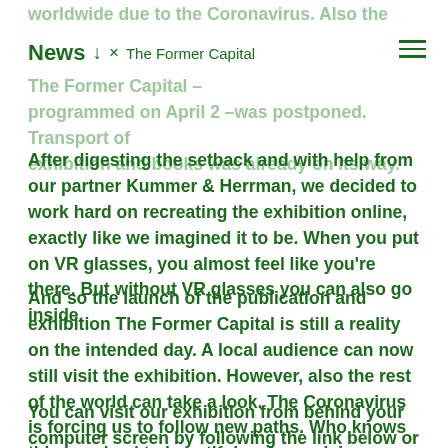News ↓ × The Former Capital ≡
worldwide due to the Coronavirus. Also the launch of our The Former Capital – programmed on April 2 –was postponed. Transport of exhibition and books was already on its way.
After digesting the setback and with help from our partner Kummer & Herrman, we decided to work hard on recreating the exhibition online, exactly like we imagined it to be. When you put on VR glasses, you almost feel like you're there. But without VR glasses you can also go inside.
And so the launch of the publication and exhibition The Former Capital is still a reality on the intended day. A local audience can now still visit the exhibition. However, also the rest of the world can take a look. The Coronavirus is forcing us to follow new paths. Who knows this may lead to beautiful and surprising insights.
You can visit our exhibition from behind your computer screen by following the link below or via the Artsteps app on your phone and in VR.